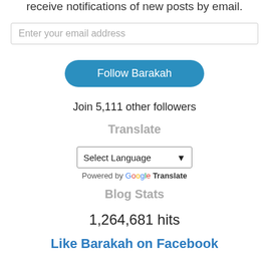receive notifications of new posts by email.
Enter your email address
Follow Barakah
Join 5,111 other followers
Translate
Select Language
Powered by Google Translate
Blog Stats
1,264,681 hits
Like Barakah on Facebook